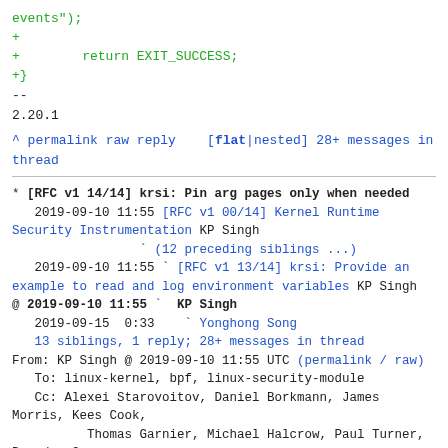events");
+
+        return EXIT_SUCCESS;
+}
--
2.20.1
^ permalink raw reply    [flat|nested] 28+ messages in thread
* [RFC v1 14/14] krsi: Pin arg pages only when needed
   2019-09-10 11:55 [RFC v1 00/14] Kernel Runtime Security Instrumentation KP Singh
                 ` (12 preceding siblings ...)
   2019-09-10 11:55 ` [RFC v1 13/14] krsi: Provide an example to read and log environment variables KP Singh
@ 2019-09-10 11:55 `  KP Singh
   2019-09-15  0:33   ` Yonghong Song
  13 siblings, 1 reply; 28+ messages in thread
From: KP Singh @ 2019-09-10 11:55 UTC (permalink / raw)
   To: linux-kernel, bpf, linux-security-module
   Cc: Alexei Starovoitov, Daniel Borkmann, James Morris, Kees Cook,
           Thomas Garnier, Michael Halcrow, Paul Turner, Brendan Gregg,
           Jann Horn, Matthew Garrett, Christian Brauner,
           Mickaël Salaün, Florent Revest, Martin KaFai Lau,